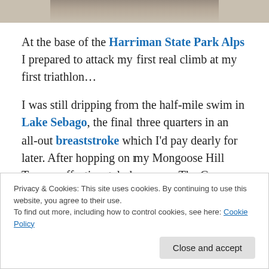[Figure (photo): Partial photo strip at top of page showing a bicycle, cropped]
At the base of the Harriman State Park Alps I prepared to attack my first real climb at my first triathlon…
I was still dripping from the half-mile swim in Lake Sebago, the final three quarters in an all-out breaststroke which I'd pay dearly for later. After hopping on my Mongoose Hill Topper, affectionately known as The Goose (pictured above), I became increasingly frustrated every time I was passed…which was a lot. I banged The Goose into the highest gear possible and wrecked my legs on the
Privacy & Cookies: This site uses cookies. By continuing to use this website, you agree to their use.
To find out more, including how to control cookies, see here: Cookie Policy